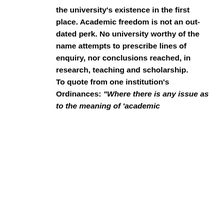the university's existence in the first place. Academic freedom is not an out-dated perk. No university worthy of the name attempts to prescribe lines of enquiry, nor conclusions reached, in research, teaching and scholarship.

To quote from one institution's Ordinances: "Where there is any issue as to the meaning of 'academic